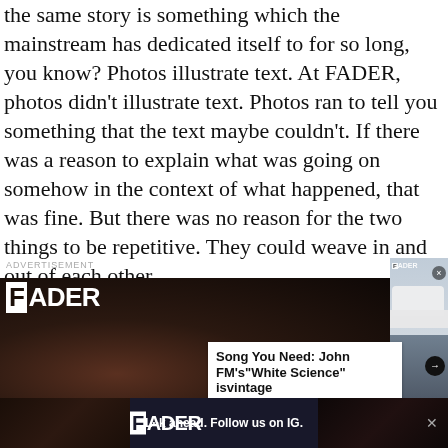the same story is something which the mainstream has dedicated itself to for so long, you know? Photos illustrate text. At FADER, photos didn't illustrate text. Photos ran to tell you something that the text maybe couldn't. If there was a reason to explain what was going on somehow in the context of what happened, that was fine. But there was no reason for the two things to be repetitive. They could weave in and out of each other.
[Figure (screenshot): Advertisement: FADER magazine ad showing a woman's close-up portrait on the left and a white convertible car with passengers on the right, with an article card overlay reading 'Song You Need: John FM's "White Science" isvintage'. Bottom banner with FADER logo and 'L··k ahead. Follow us on IG.' text.]